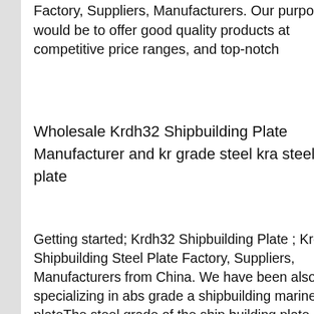Factory, Suppliers, Manufacturers. Our purpose would be to offer good quality products at competitive price ranges, and top-notch
[Figure (infographic): Customer service chat widget with '7X24 Online' banner, photo of a woman wearing a headset smiling, 'Hello, may I help you?' message and 'Get Latest Price' yellow button on dark blue background]
Wholesale Krdh32 Shipbuilding Plate Manufacturer and kr grade steel kra steel plate
Getting started; Krdh32 Shipbuilding Plate ; Krdh32 Shipbuilding Steel Plate Factory, Suppliers, Manufacturers from China. We have been also specializing in abs grade a shipbuilding marine steel plateThe steel grade of the ship building plate is ABS grade A. It is equivalent with BVA CCSA NV A GL-A KRA LRA KA RINA-A. It is noted that the grade of ccs